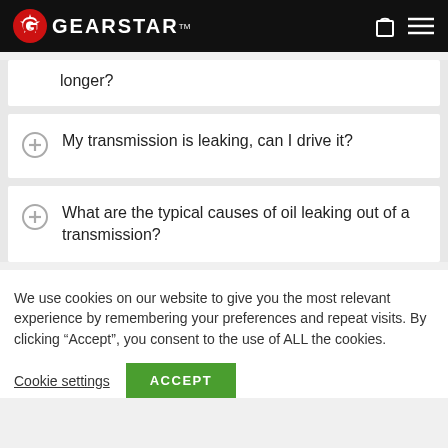GEARSTAR™
longer?
My transmission is leaking, can I drive it?
What are the typical causes of oil leaking out of a transmission?
We use cookies on our website to give you the most relevant experience by remembering your preferences and repeat visits. By clicking "Accept", you consent to the use of ALL the cookies.
Cookie settings  ACCEPT